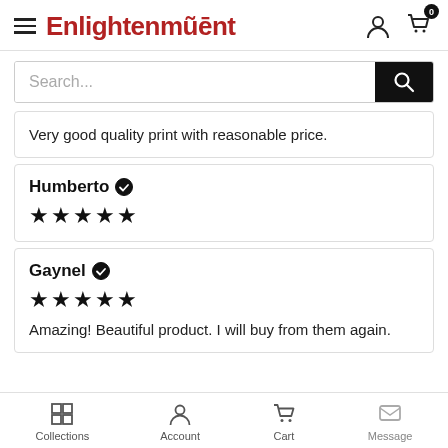Enlightenment
Very good quality print with reasonable price.
Humberto ✔ ★★★★★
Gaynel ✔ ★★★★★ Amazing! Beautiful product. I will buy from them again.
Collections  Account  Cart  Message